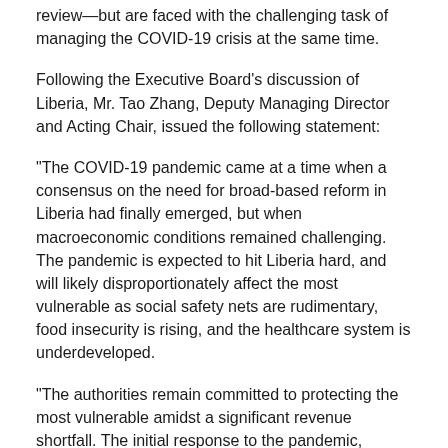review—but are faced with the challenging task of managing the COVID-19 crisis at the same time.
Following the Executive Board's discussion of Liberia, Mr. Tao Zhang, Deputy Managing Director and Acting Chair, issued the following statement:
“The COVID-19 pandemic came at a time when a consensus on the need for broad-based reform in Liberia had finally emerged, but when macroeconomic conditions remained challenging. The pandemic is expected to hit Liberia hard, and will likely disproportionately affect the most vulnerable as social safety nets are rudimentary, food insecurity is rising, and the healthcare system is underdeveloped.
“The authorities remain committed to protecting the most vulnerable amidst a significant revenue shortfall. The initial response to the pandemic, including the emergency food aid program, is welcome, but more remains to be done. Specifically, the passage of the